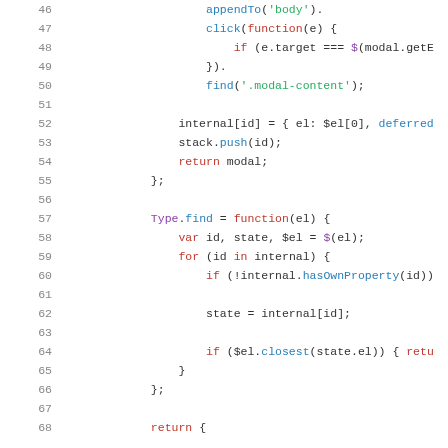[Figure (screenshot): Source code snippet showing JavaScript lines 46-68, with syntax highlighting. Line numbers on the left, code with colored keywords, function calls, and identifiers.]